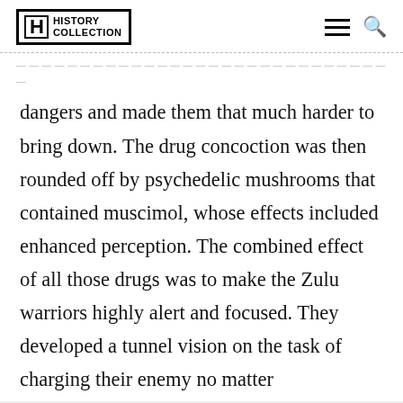History Collection
dangers and made them that much harder to bring down. The drug concoction was then rounded off by psychedelic mushrooms that contained muscimol, whose effects included enhanced perception. The combined effect of all those drugs was to make the Zulu warriors highly alert and focused. They developed a tunnel vision on the task of charging their enemy no matter
Advertisement
[Figure (infographic): Advertisement banner for Visit Premium Outlets - Leesburg Premium Outlets with logo and navigation arrow]